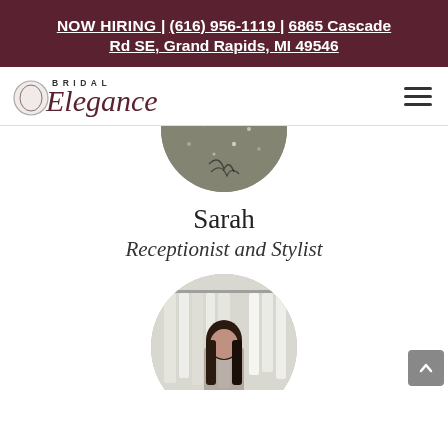NOW HIRING | (616) 956-1119 | 6865 Cascade Rd SE, Grand Rapids, MI 49546
[Figure (logo): Bridal Elegance logo with stylized text and circle emblem, plus hamburger menu icon]
[Figure (photo): Circular cropped photo showing a textured dark gray/silver beaded fabric or material, partially cut off at top]
Sarah
Receptionist and Stylist
[Figure (photo): Circular cropped photo of Sarah, a woman with dark hair, standing in front of wedding dress garment racks with white veils and gowns]